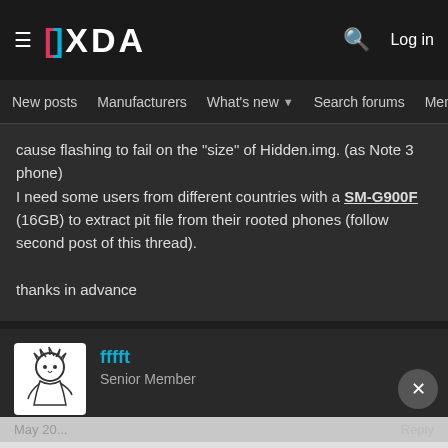XDA Developers — Log in | New posts | Manufacturers | What's new | Search forums | Members
cause flashing to fail on the "size" of Hidden.img. (as Note 3 phone)
I need some users from different countries with a SM-G900F (16GB) to extract pit file from their rooted phones (follow second post of this thread).

thanks in advance
fffft
Senior Member
[Figure (screenshot): Hulu Disney+ ESPN+ 'GET THE DISNEY BUNDLE' advertisement banner]
May 20... | Reply